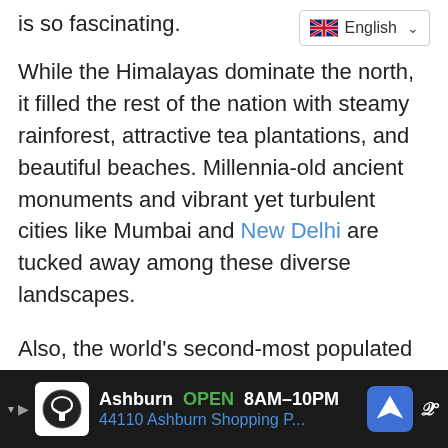is so fascinating.
While the Himalayas dominate the north, it filled the rest of the nation with steamy rainforest, attractive tea plantations, and beautiful beaches. Millennia-old ancient monuments and vibrant yet turbulent cities like Mumbai and New Delhi are tucked away among these diverse landscapes.
Also, the world's second-most populated country provides something for everyone, from temples to food, history to wildlife. The only problem is deciding where to start.
India is a large South Asian country with a
[Figure (screenshot): Advertisement bar at the bottom: shows a restaurant icon, 'Ashburn OPEN 8AM-10PM', '44110 Ashburn Shopping P...' with a navigation arrow icon and a 'w°' symbol on dark background]